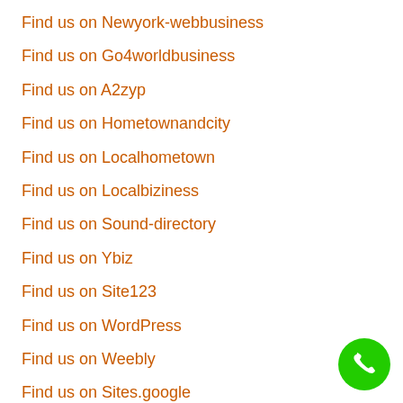Find us on Newyork-webbusiness
Find us on Go4worldbusiness
Find us on A2zyp
Find us on Hometownandcity
Find us on Localhometown
Find us on Localbiziness
Find us on Sound-directory
Find us on Ybiz
Find us on Site123
Find us on WordPress
Find us on Weebly
Find us on Sites.google
[Figure (illustration): Green circular phone call button icon in bottom-right corner]